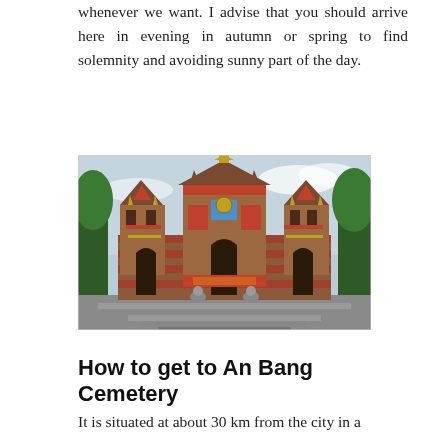whenever we want. I advise that you should arrive here in evening in autumn or spring to find solemnity and avoiding sunny part of the day.
[Figure (photo): Ornate Asian temple gateway with multiple tiers of decorative spires, colorful stonework in red, gold and green, with stone staircases leading up to the main entrance, trees visible in background, overcast sky.]
How to get to An Bang Cemetery
It is situated at about 30 km from the city in a